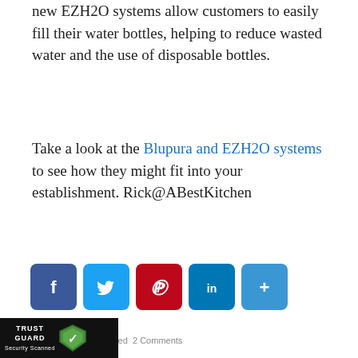new EZH2O systems allow customers to easily fill their water bottles, helping to reduce wasted water and the use of disposable bottles.
Take a look at the Blupura and EZH2O systems to see how they might fit into your establishment. Rick@ABestKitchen
[Figure (infographic): Social sharing buttons: Facebook (blue), Twitter (light blue), Pinterest (red), LinkedIn (teal), More/Plus (blue)]
Posted in Uncategorized 2 Comments
Merchandising with True’s Smaller T-12 Refrigerators and Freezers
February 5, 2016